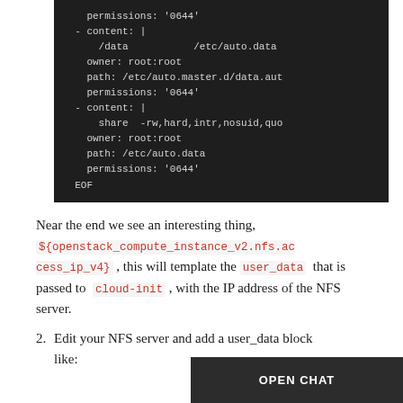[Figure (screenshot): Dark-themed code block showing YAML configuration with permissions, content, owner, path fields and EOF marker]
Near the end we see an interesting thing, ${openstack_compute_instance_v2.nfs.access_ip_v4} , this will template the user_data that is passed to cloud-init , with the IP address of the NFS server.
2. Edit your NFS server and add a user_data block like: